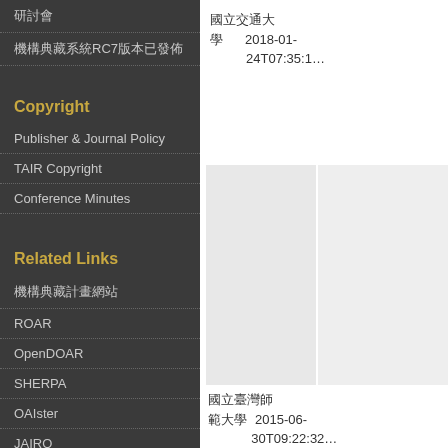研討會
機構典藏系統RC7版本已發佈
Copyright
Publisher & Journal Policy
TAIR Copyright
Conference Minutes
Related Links
機構典藏計畫網站
ROAR
OpenDOAR
SHERPA
OAIster
JAIRO
Ira
DORIJSE
國立交通大學　2018-01-24T07:35:1…
國立臺灣師範大學　2015-06-30T09:22:32…